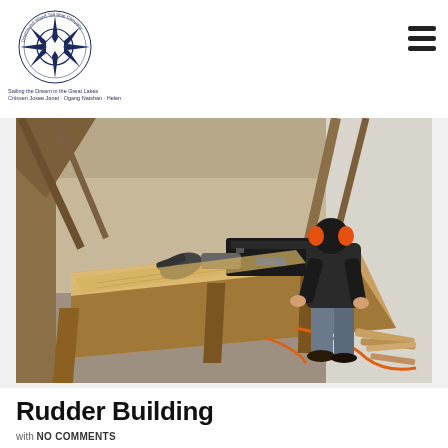Drummond Island Tall Ship Company — Sailing the Dream in the Great Lakes — Criissen Josee Janet · Ogang Natshan · Helen
[Figure (photo): A person wearing orange ear protection bending over a large wooden workbench, using power tools to work on wood planks inside a ship-building workshop. Tools and lumber are visible throughout.]
Rudder Building
with NO COMMENTS
October 27, 2016 This month's work was delayed a little by the Rebelle Rally Jeep project, but a new volunteer